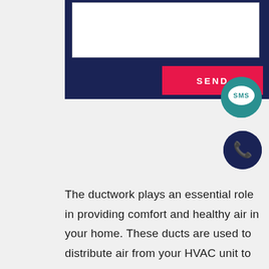[Figure (screenshot): Dark navy blue form panel with white textarea input and red SEND button, plus teal SMS bubble icon and navy phone circle icon]
The ductwork plays an essential role in providing comfort and healthy air in your home. These ducts are used to distribute air from your HVAC unit to deliver supply air and contribute to your place's indoor air environment and comfort. If your ducts aren't working well, they can reduce comfort and air quality indoors and decrease energy efficiency on your HVAC unit. Here at S & R